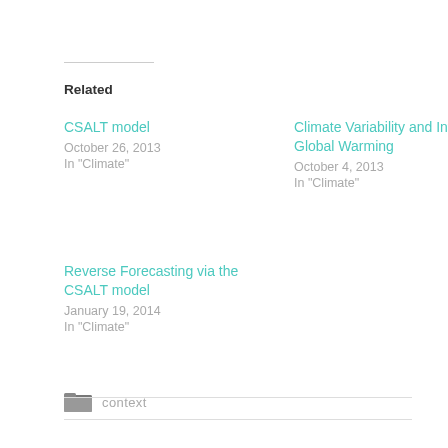Related
CSALT model
October 26, 2013
In "Climate"
Climate Variability and Inferring Global Warming
October 4, 2013
In "Climate"
Reverse Forecasting via the CSALT model
January 19, 2014
In "Climate"
context